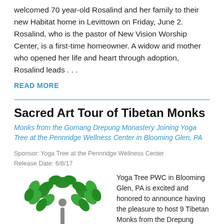welcomed 70 year-old Rosalind and her family to their new Habitat home in Levittown on Friday, June 2. Rosalind, who is the pastor of New Vision Worship Center, is a first-time homeowner. A widow and mother who opened her life and heart through adoption, Rosalind leads . . .
READ MORE
Sacred Art Tour of Tibetan Monks
Monks from the Gomang Drepung Monastery Joining Yoga Tree at the Pennridge Wellness Center in Blooming Glen, PA
Sponsor: Yoga Tree at the Pennridge Wellness Center
Release Date: 6/8/17
[Figure (logo): Yoga Tree at the Pennridge Wellness Center logo — a stylized tree with green leaves and a person figure, with text 'YOGA TREE AT THE PENNRIDGE WELLNESS CENTER']
Yoga Tree PWC in Blooming Glen, PA is excited and honored to announce having the pleasure to host 9 Tibetan Monks from the Drepung Gomang Monastery on their Annual Sacred Art